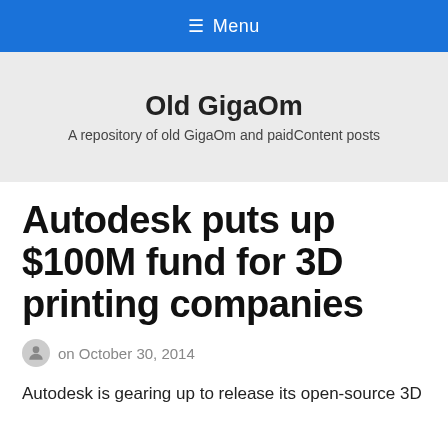≡ Menu
Old GigaOm
A repository of old GigaOm and paidContent posts
Autodesk puts up $100M fund for 3D printing companies
on October 30, 2014
Autodesk is gearing up to release its open-source 3D